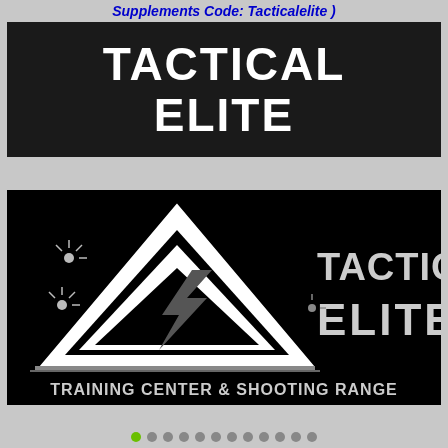Supplements Code: Tacticalelite )
TACTICAL ELITE
[Figure (logo): Tactical Elite Training Center & Shooting Range logo: black background with white triangular emblem containing a lightning bolt, text 'TACTICAL ELITE' in distressed military font, and 'TRAINING CENTER & SHOOTING RANGE' at the bottom]
Slideshow navigation dots (12 dots, first active)